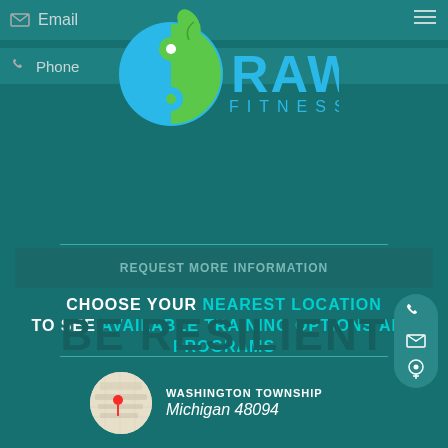[Figure (logo): RAW FITNESS logo with circular yin-yang style icon in blue and green with a leaf on top]
Email
Phone
REQUEST MORE INFORMATION
CHOOSE YOUR NEAREST LOCATION TO SEE AVAILABLE TRAINING OPTIONS AND PROGRAMS
WASHINGTON TOWNSHIP
Michigan 48094
SHELBY TOWNSHIP
Michigan 48315
BE RESILIENT